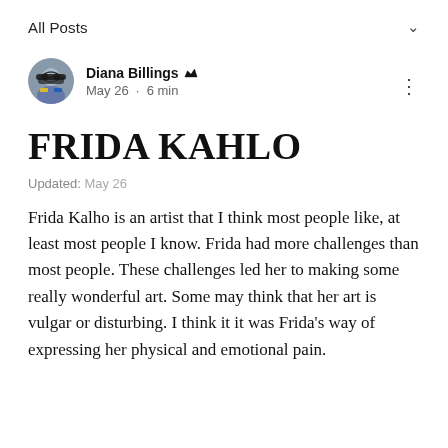All Posts
Diana Billings · May 26 · 6 min
FRIDA KAHLO
Updated: May 26
Frida Kalho is an artist that I think most people like, at least most people I know. Frida had more challenges than most people. These challenges led her to making some really wonderful art. Some may think that her art is vulgar or disturbing. I think it it was Frida's way of expressing her physical and emotional pain.